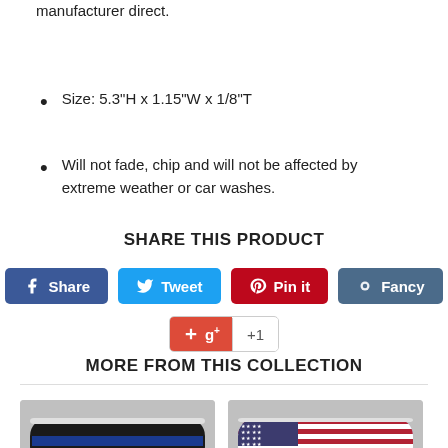Brand new 3D emblem. Made in Canada. Buy from manufacturer direct.
Size: 5.3"H x 1.15"W x 1/8"T
Will not fade, chip and will not be affected by extreme weather or car washes.
SHARE THIS PRODUCT
[Figure (infographic): Social share buttons: Facebook Share, Twitter Tweet, Pinterest Pin it, Fancy, and Google +1]
MORE FROM THIS COLLECTION
[Figure (photo): Thin Blue Line Police Chrome emblem product photo]
[Figure (photo): US American Flag Chrome emblem product photo]